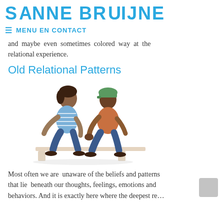SANNE BRUIJNE
≡ MENU EN CONTACT
and maybe even sometimes colored way at the relational experience.
Old Relational Patterns
[Figure (illustration): Watercolor illustration of two people sitting on a bench, facing each other. The person on the left wears blue striped clothing and blue pants; the person on the right wears a green cap, orange top, and blue pants.]
Most often we are unaware of the beliefs and patterns that lie beneath our thoughts, feelings, emotions and behaviors. And it is exactly here where the deepest recurring